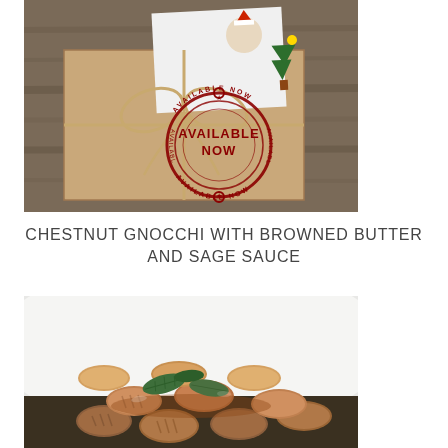[Figure (photo): A kraft paper wrapped gift box tied with twine bow on a wooden surface, with a cartoon Christmas illustration partially visible inside, and a red circular stamp reading 'AVAILABLE NOW' repeated in a ring pattern]
CHESTNUT GNOCCHI WITH BROWNED BUTTER AND SAGE SAUCE
[Figure (photo): Close-up photo of chestnut gnocchi pasta pieces with dark sauce and crispy sage leaves on a white plate]